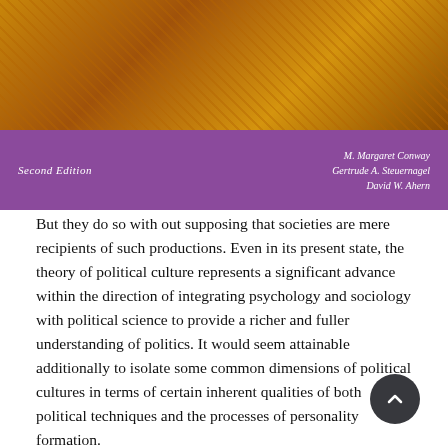[Figure (photo): Book cover image showing a purple and orange/gold design. Top portion has an orange textured/patterned background (likely a decorative image). Lower portion is purple with author names on the right: M. Margaret Conway, Gertrude A. Steuernagel, David W. Ahern, and 'Second Edition' on the left.]
But they do so with out supposing that societies are mere recipients of such productions. Even in its present state, the theory of political culture represents a significant advance within the direction of integrating psychology and sociology with political science to provide a richer and fuller understanding of politics. It would seem attainable additionally to isolate some common dimensions of political cultures in terms of certain inherent qualities of both political techniques and the processes of personality formation.
Nathan Leites (1951; 1953) has demonstrated the value of analyzing elite political habits characterologically. It seems likely that additional research will reveal that political